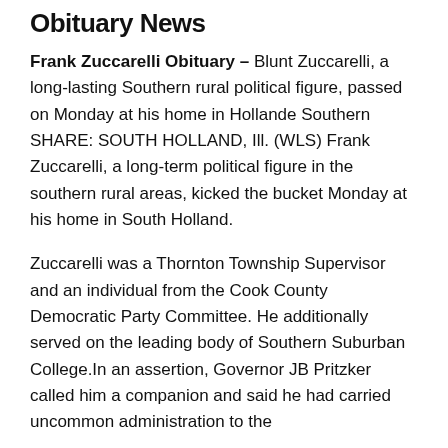Obituary News
Frank Zuccarelli Obituary – Blunt Zuccarelli, a long-lasting Southern rural political figure, passed on Monday at his home in Hollande Southern SHARE: SOUTH HOLLAND, Ill. (WLS) Frank Zuccarelli, a long-term political figure in the southern rural areas, kicked the bucket Monday at his home in South Holland.
Zuccarelli was a Thornton Township Supervisor and an individual from the Cook County Democratic Party Committee. He additionally served on the leading body of Southern Suburban College.In an assertion, Governor JB Pritzker called him a companion and said he had carried uncommon administration to the